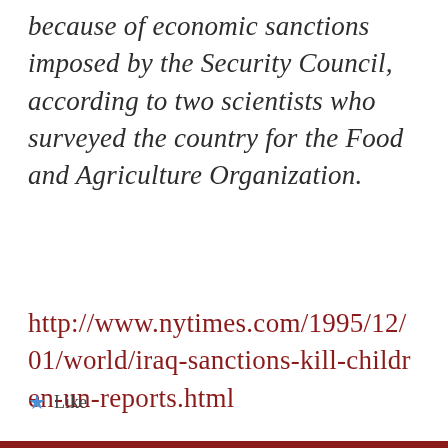because of economic sanctions imposed by the Security Council, according to two scientists who surveyed the country for the Food and Agriculture Organization.
http://www.nytimes.com/1995/12/01/world/iraq-sanctions-kill-children-un-reports.html
Like